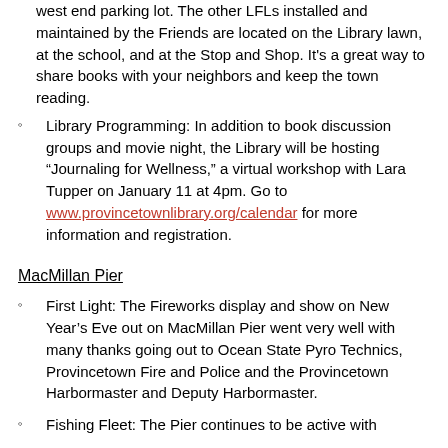west end parking lot. The other LFLs installed and maintained by the Friends are located on the Library lawn, at the school, and at the Stop and Shop. It's a great way to share books with your neighbors and keep the town reading.
Library Programming: In addition to book discussion groups and movie night, the Library will be hosting “Journaling for Wellness,” a virtual workshop with Lara Tupper on January 11 at 4pm. Go to www.provincetownlibrary.org/calendar for more information and registration.
MacMillan Pier
First Light: The Fireworks display and show on New Year’s Eve out on MacMillan Pier went very well with many thanks going out to Ocean State Pyro Technics, Provincetown Fire and Police and the Provincetown Harbormaster and Deputy Harbormaster.
Fishing Fleet: The Pier continues to be active with